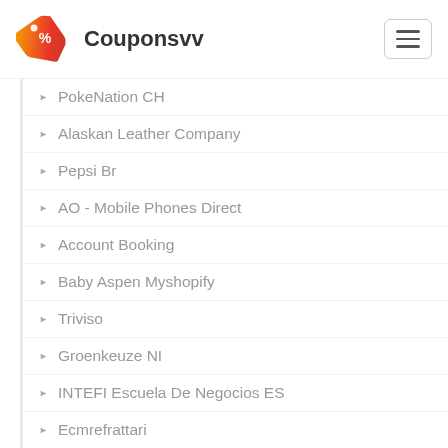Couponsvv
PokeNation CH
Alaskan Leather Company
Pepsi Br
AO - Mobile Phones Direct
Account Booking
Baby Aspen Myshopify
Triviso
Groenkeuze NI
INTEFI Escuela De Negocios ES
Ecmrefrattari
AccessibleGO
Edeniste
Alpha Beta PC
Athletic Brewing Ca
Bevclass
Tumibrasil